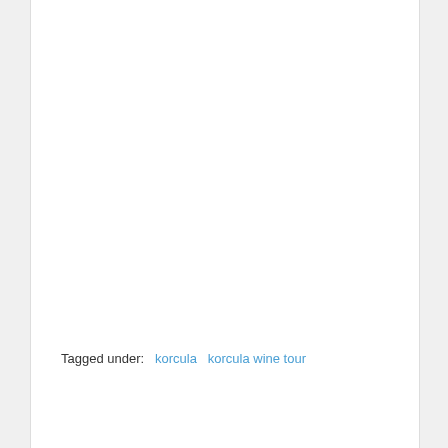Tagged under:   korcula   korcula wine tour